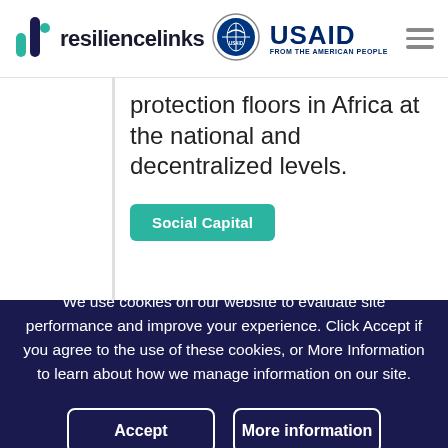resiliencelinks | USAID FROM THE AMERICAN PEOPLE
protection floors in Africa at the national and decentralized levels.
Social Capital
We use cookies on our website to evaluate site performance and improve your experience. Click Accept if you agree to the use of these cookies, or More Information to learn about how we manage information on our site.
Accept
More information